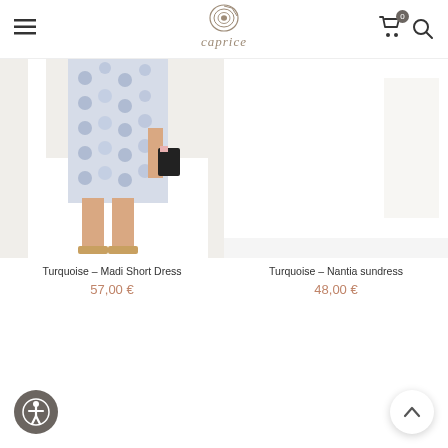Caprice – navigation header with hamburger menu, logo, cart and search icons
[Figure (photo): Woman wearing a blue and white patterned short dress with gold sandals, holding a black bag with pink scarf – Madi Short Dress product photo]
Turquoise – Madi Short Dress
57,00 €
[Figure (photo): Partial/cropped product photo for Turquoise – Nantia sundress, mostly white background visible]
Turquoise – Nantia sundress
48,00 €